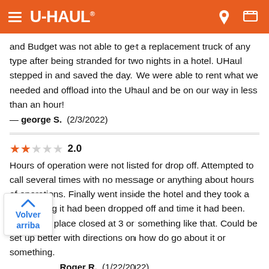U-HAUL
and Budget was not able to get a replacement truck of any type after being stranded for two nights in a hotel. UHaul stepped in and saved the day. We were able to rent what we needed and offload into the Uhaul and be on our way in less than an hour!
— george S.  (2/3/2022)
2.0 — Hours of operation were not listed for drop off. Attempted to call several times with no message or anything about hours of operations. Finally went inside the hotel and they took a note saying it had been dropped off and time it had been. Found out place closed at 3 or something like that. Could be set up better with directions on how do go about it or something.
— Roger R.  (1/22/2022)
4.0 — The lady at the econolodge was by far the best part of my u-haul